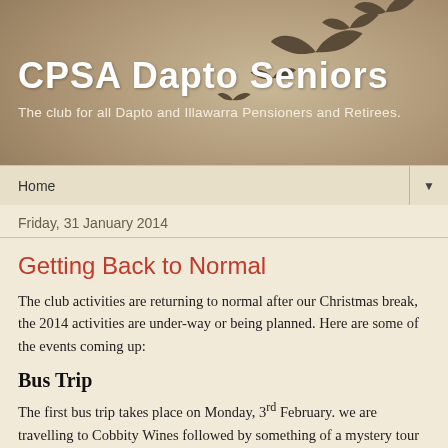CPSA Dapto Seniors
The club for all Dapto and Illawarra Pensioners and Retirees.
Home
Friday, 31 January 2014
Getting Back to Normal
The club activities are returning to normal after our Christmas break, the 2014 activities are under-way or being planned. Here are some of the events coming up:
Bus Trip
The first bus trip takes place on Monday, 3rd February. we are travelling to Cobbity Wines followed by something of a mystery tour of the area. It should be an interesting trip. We